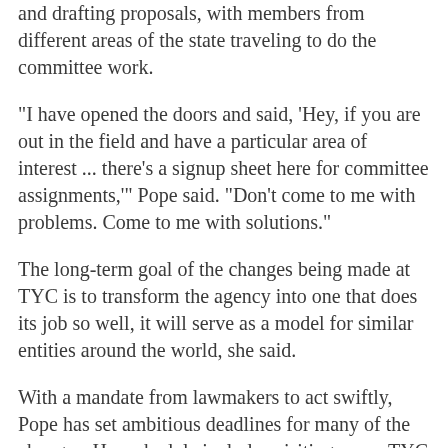and drafting proposals, with members from different areas of the state traveling to do the committee work.
"I have opened the doors and said, 'Hey, if you are out in the field and have a particular area of interest ... there's a signup sheet here for committee assignments,'" Pope said. "Don't come to me with problems. Come to me with solutions."
The long-term goal of the changes being made at TYC is to transform the agency into one that does its job so well, it will serve as a model for similar entities around the world, she said.
With a mandate from lawmakers to act swiftly, Pope has set ambitious deadlines for many of the changes. Her schedule includes visiting every TYC office and facility -- by the end of August.
Other speakers from TYC included Yolanda Hall on legislative appropriations; Stan DeCarolemi